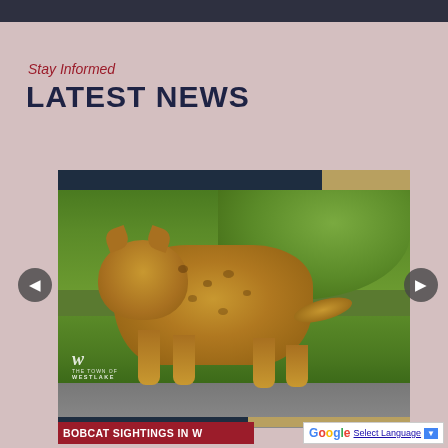Stay Informed
LATEST NEWS
[Figure (photo): A bobcat walking across a paved path with green grass and foliage in the background. The Westlake city logo (stylized W) is visible in the lower left corner. Dark blue and gold header bars appear at the top of the card.]
BOBCAT SIGHTINGS IN W...